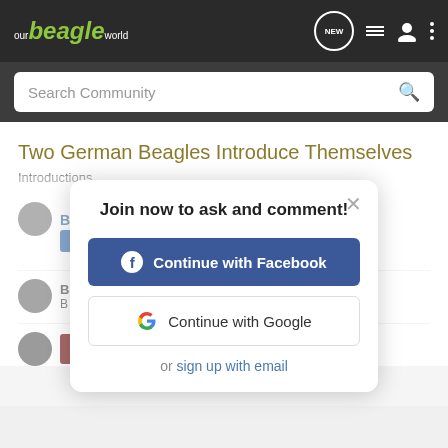our beagle world — navigation bar with search
Two German Beagles Introduce Themselves
Introductions
[Figure (screenshot): Modal dialog: Join now to ask and comment! with Continue with Facebook button, Continue with Google button, and or sign up with email link]
Keeping past dogs alive- very long